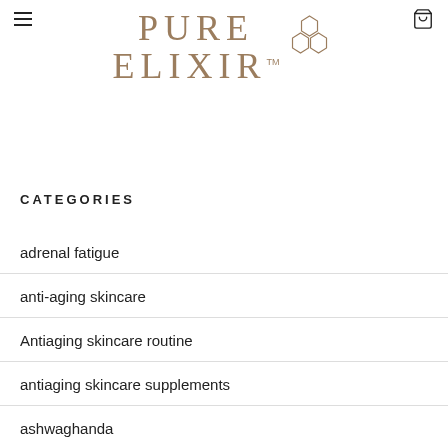[Figure (logo): Pure Elixir brand logo with hexagon icon and TM mark in brown/tan color]
CATEGORIES
adrenal fatigue
anti-aging skincare
Antiaging skincare routine
antiaging skincare supplements
ashwaghanda